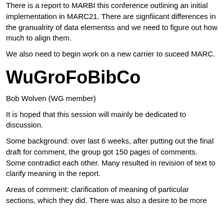There is a report to MARBI this conference outlining an initial implementation in MARC21. There are signfiicant differences in the granualrity of data elementss and we need to figure out how much to align them.
We also need to begin work on a new carrier to suceed MARC.
WuGroFoBibCo
Bob Wolven (WG member)
It is hoped that this session will mainly be dedicated to discussion.
Some background: over last 6 weeks, after putting out the final draft for comment, the group got 150 pages of comments. Some contradict each other. Many resulted in revision of text to clarify meaning in the report.
Areas of comment: clarification of meaning of particular sections, which they did. There was also a desire to be more